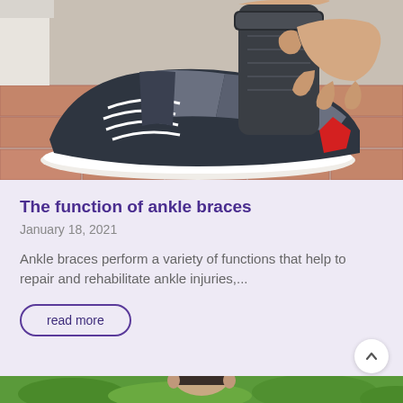[Figure (photo): Close-up photo of a person putting on a dark ankle brace over a running shoe (dark grey/black sneaker with red and white accents), on a brick/tile outdoor surface.]
The function of ankle braces
January 18, 2021
Ankle braces perform a variety of functions that help to repair and rehabilitate ankle injuries,...
read more
[Figure (photo): Partial view of a person from behind with short dark hair, with green foliage background.]